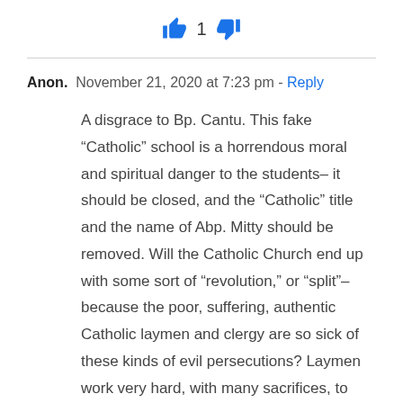[Figure (other): Thumbs up icon (blue), count 1, and thumbs down icon (blue) voting buttons]
Anon.  November 21, 2020 at 7:23 pm - Reply
A disgrace to Bp. Cantu. This fake “Catholic” school is a horrendous moral and spiritual danger to the students– it should be closed, and the “Catholic” title and the name of Abp. Mitty should be removed. Will the Catholic Church end up with some sort of “revolution,” or “split”– because the poor, suffering, authentic Catholic laymen and clergy are so sick of these kinds of evil persecutions? Laymen work very hard, with many sacrifices, to have the money to send